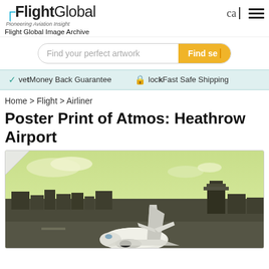FlightGlobal — Pioneering Aviation Insight — Flight Global Image Archive
Find your perfect artwork  Find seà
veťMoney Back Guarantee  locčFast Safe Shipping
Home > Flight > Airliner
Poster Print of Atmos: Heathrow Airport
[Figure (photo): Photo of an airliner on the tarmac at Heathrow Airport with airport buildings and control tower in background under a hazy yellow-green sky. Image shown as a poster print with curled corner effect.]